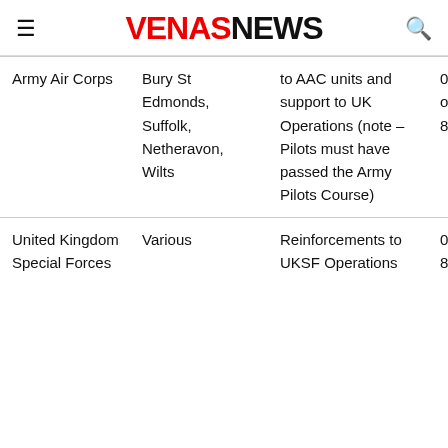VENASNEWS
| Army Air Corps | Bury St Edmonds, Suffolk, Netheravon, Wilts | to AAC units and support to UK Operations (note – Pilots must have passed the Army Pilots Course) | 01284 9148 o 01980 8292 |
| United Kingdom Special Forces | Various | Reinforcements to UKSF Operations | 0121 3 8224 |